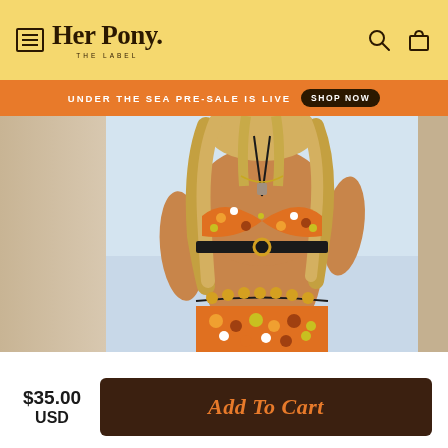Her Pony. THE LABEL
UNDER THE SEA PRE-SALE IS LIVE  SHOP NOW
[Figure (photo): Woman wearing a 70s-style floral orange bikini top with a black band and gold ring detail, and a matching floral skirt with gold coin chain belt. Photographed outdoors against a light background.]
$35.00 USD
Add To Cart